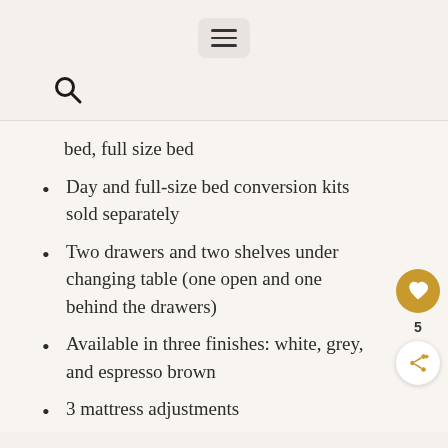hamburger menu icon, search icon
bed, full size bed
Day and full-size bed conversion kits sold separately
Two drawers and two shelves under changing table (one open and one behind the drawers)
Available in three finishes: white, grey, and espresso brown
3 mattress adjustments